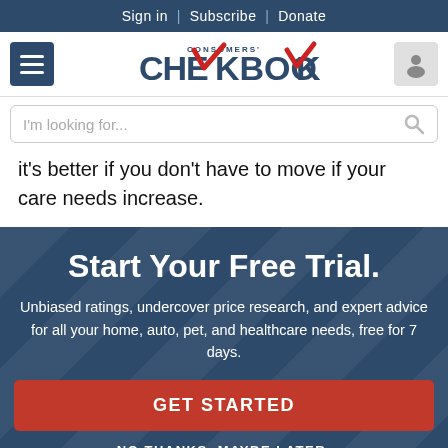Sign in | Subscribe | Donate
[Figure (logo): Consumers' Checkbook logo with red checkmark]
I'm looking for...
it's better if you don't have to move if your care needs increase.
Start Your Free Trial.
Unbiased ratings, undercover price research, and expert advice for all your home, auto, pet, and healthcare needs, free for 7 days.
GET STARTED
NO THANKS, MAYBE LATER.